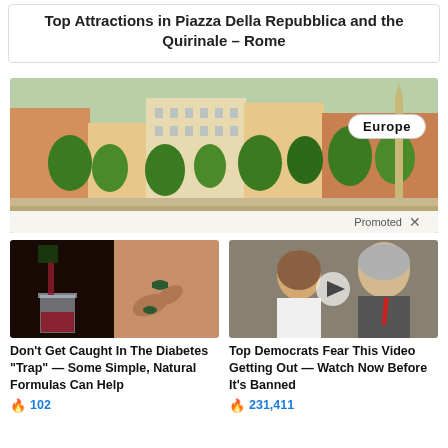Top Attractions in Piazza Della Repubblica and the Quirinale – Rome
[Figure (photo): Aerial/overhead view of Rome city buildings and a plaza with trees and an obelisk, with a white 'Europe' badge overlay in top right and 'Promoted X' bar at bottom]
[Figure (photo): Ad image: red wine being poured into a glass on left, hand holding a capsule/supplement on right]
Don't Get Caught In The Diabetes "Trap" — Some Simple, Natural Formulas Can Help
🔥 102
[Figure (photo): Ad image: photo of two people (woman and man) with a play button circle overlay]
Top Democrats Fear This Video Getting Out — Watch Now Before It's Banned
🔥 231,411